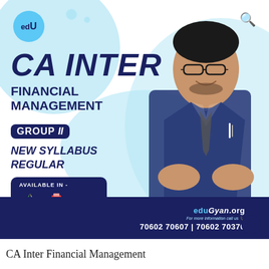[Figure (illustration): Educational course promotional banner for CA Inter Financial Management by CA Rahul Garg. Light blue background with dark navy text and accents. Shows instructor photo on right side. edU logo top left, search icon top right. Navy footer bar with eduGyan.org branding and phone numbers.]
CA INTER
FINANCIAL MANAGEMENT
GROUP II
NEW SYLLABUS
REGULAR
AVAILABLE IN -
CA RAHUL GARG
eduGyan.org
For more information call us
70602 70607 | 70602 70370
CA Inter Financial Management